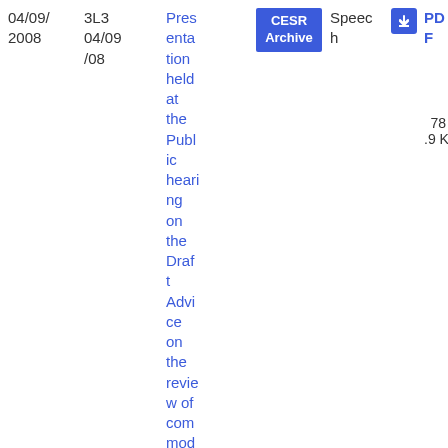| Date | Ref | Title | Archive | Type |  | PDF |
| --- | --- | --- | --- | --- | --- | --- |
| 04/09/2008 | 3L3
04/09/08 | Presentation held at the Public hearing on the Draft Advice on the review of commodities | CESR Archive | Speech | ↓ | PDF
78.9 KB |